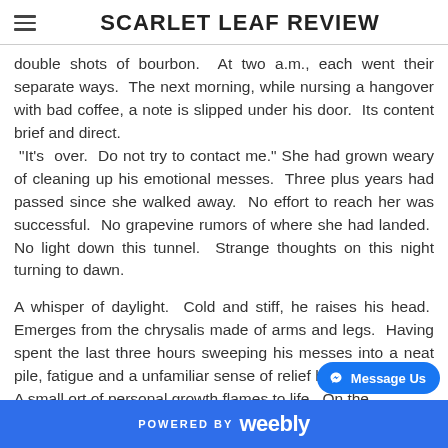SCARLET LEAF REVIEW
double shots of bourbon.  At two a.m., each went their separate ways.  The next morning, while nursing a hangover with bad coffee, a note is slipped under his door.  Its content brief and direct.  "It's  over.  Do not try to contact me." She had grown weary of cleaning up his emotional messes.  Three plus years had passed since she walked away.  No effort to reach her was successful.  No grapevine rumors of where she had landed.  No light down this tunnel.  Strange thoughts on this night turning to dawn.
A whisper of daylight.  Cold and stiff, he raises his head.  Emerges from the chrysalis made of arms and legs.  Having spent the last three hours sweeping his messes into a neat pile, fatigue and a unfamiliar sense of relief have taken hold.  A small ort of personal growth flames to life.  On the…
POWERED BY weebly